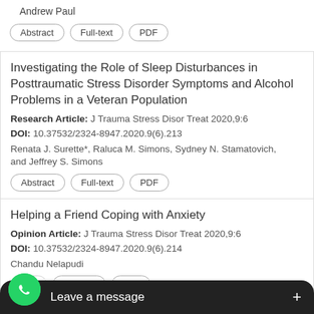Andrew Paul
Abstract | Full-text | PDF
Investigating the Role of Sleep Disturbances in Posttraumatic Stress Disorder Symptoms and Alcohol Problems in a Veteran Population
Research Article: J Trauma Stress Disor Treat 2020,9:6
DOI: 10.37532/2324-8947.2020.9(6).213
Renata J. Surette*, Raluca M. Simons, Sydney N. Stamatovich, and Jeffrey S. Simons
Abstract | Full-text | PDF
Helping a Friend Coping with Anxiety
Opinion Article: J Trauma Stress Disor Treat 2020,9:6
DOI: 10.37532/2324-8947.2020.9(6).214
Chandu Nelapudi
Abstract | Full-text | PDF
Rela… Anxiety Disorders Com…